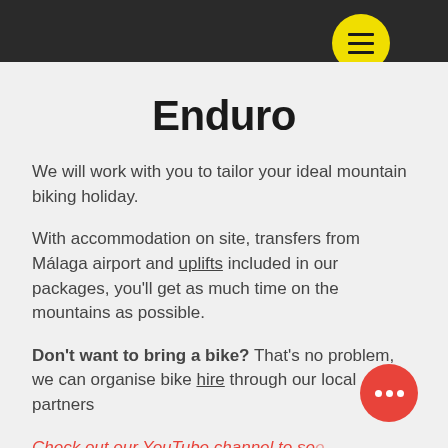[Dark top navigation bar with yellow hamburger menu button]
Enduro
We will work with you to tailor your ideal mountain biking holiday.
With accommodation on site, transfers from Málaga airport and uplifts included in our packages, you'll get as much time on the mountains as possible.
Don't want to bring a bike? That's no problem, we can organise bike hire through our local partners
Check out our YouTube channel to see what our trails are like